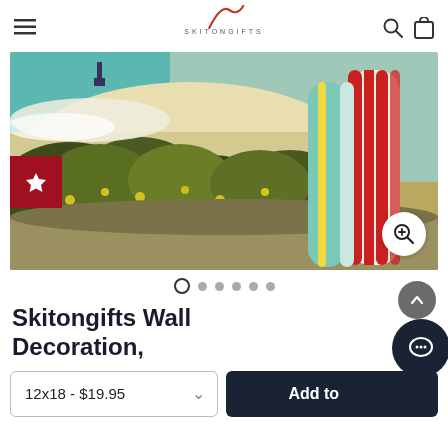SKITONGIFTS
[Figure (photo): A vintage-style illustration of surfboards leaning against vegetation near a sandy beach, with a figure visible in the upper left near the water. Two surfboards on the right have red and white stripes with teal accents. The scene is rendered in a flat, poster-art style.]
Skitongifts Wall Decoration,
12x18 - $19.95
Add to